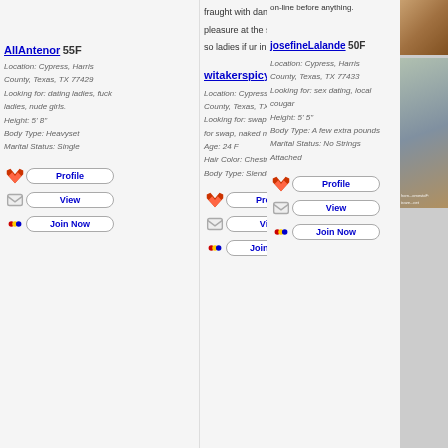AllAntenor 55F
Location: Cypress, Harris County, Texas, TX 77429
Looking for: dating ladies, fuck ladies, nude girls
Height: 5' 8"
Body Type: Heavyset
Marital Status: Single
fraught with danger and pleasure at the same time so ladies if ur in the mood.
witakerspicy 24F
Location: Cypress, Harris County, Texas, TX 77422
Looking for: swap partners, wife for swap, naked milfs
Age: 24 F
Hair Color: Chestnut
Body Type: Slender
on-line before anything.
josefineLalande 50F
Location: Cypress, Harris County, Texas, TX 77433
Looking for: sex dating, local cougar
Height: 5' 5"
Body Type: A few extra pounds
Marital Status: No Strings Attached
[Figure (photo): Photo of person at top right]
[Figure (photo): Photo of woman bottom right with watermark traveltoknet]